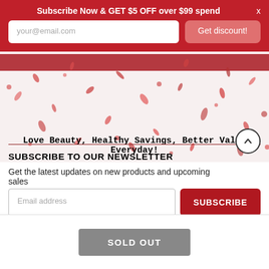Subscribe Now & GET $5 OFF over $99 spend
your@email.com
Get discount!
[Figure (illustration): Red confetti/petals scattered on a light pinkish-white background]
Love Beauty, Healthy Savings, Better Value Everyday!
SUBSCRIBE TO OUR NEWSLETTER
Get the latest updates on new products and upcoming sales
Email address
SUBSCRIBE
SOLD OUT